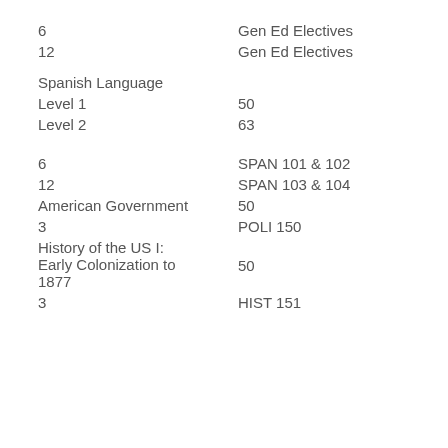6
Gen Ed Electives
12
Gen Ed Electives
Spanish Language
Level 1
50
Level 2
63
6
SPAN 101 & 102
12
SPAN 103 & 104
American Government
50
3
POLI 150
History of the US I: Early Colonization to 1877
50
3
HIST 151